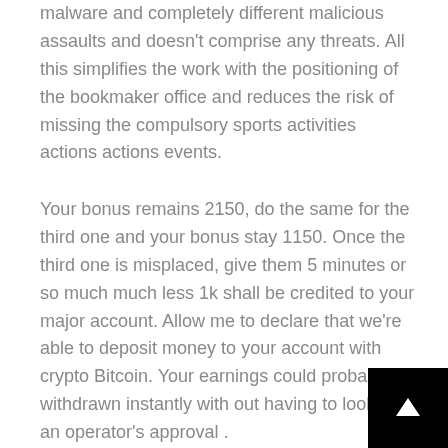malware and completely different malicious assaults and doesn't comprise any threats. All this simplifies the work with the positioning of the bookmaker office and reduces the risk of missing the compulsory sports activities actions actions events.
Your bonus remains 2150, do the same for the third one and your bonus stay 1150. Once the third one is misplaced, give them 5 minutes or so much much less 1k shall be credited to your major account. Allow me to declare that we're able to deposit money to your account with crypto Bitcoin. Your earnings could probably be withdrawn instantly with out having to look at an operator's approval .